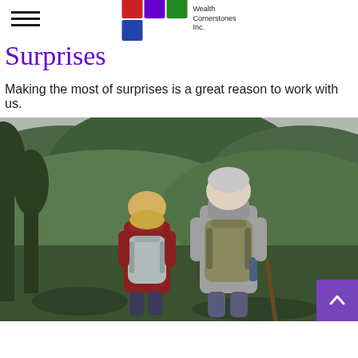Wealth Cornerstones Inc. — navigation header with logo
Surprises
Making the most of surprises is a great reason to work with us.
[Figure (photo): Two elderly hikers seen from behind, wearing backpacks, looking at a green mountainside landscape]